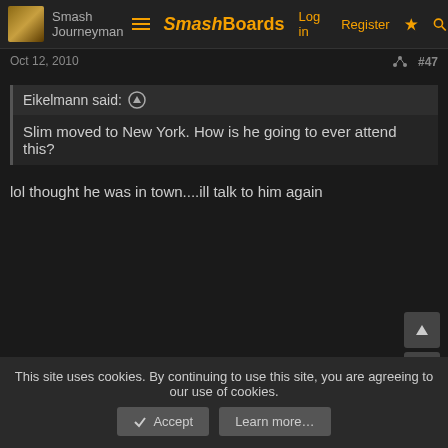Smash Journeyman | SmashBoards | Log in | Register
Oct 12, 2010  #47
Eikelmann said: ↑
Slim moved to New York. How is he going to ever attend this?
lol thought he was in town....ill talk to him again
This site uses cookies. By continuing to use this site, you are agreeing to our use of cookies. Accept  Learn more...